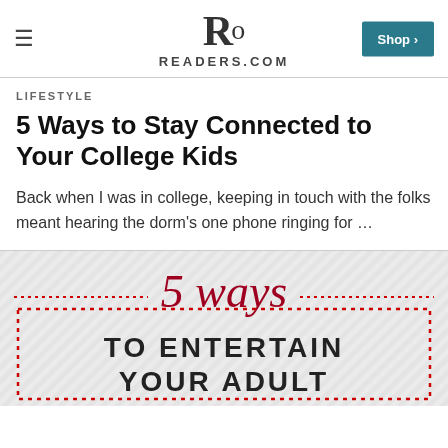READERS.COM
LIFESTYLE
5 Ways to Stay Connected to Your College Kids
Back when I was in college, keeping in touch with the folks meant hearing the dorm's one phone ringing for …
[Figure (infographic): Infographic titled '5 ways TO ENTERTAIN YOUR ADULT' with cursive red '5 ways' text and dotted red border box on a light background]